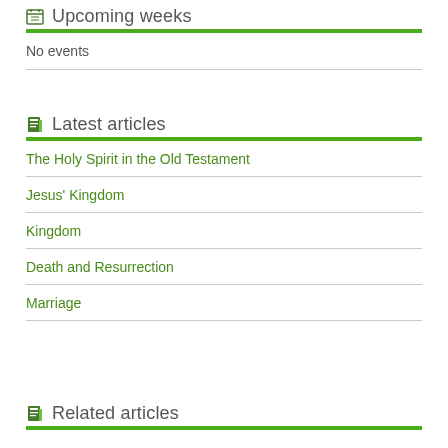Upcoming weeks
No events
Latest articles
The Holy Spirit in the Old Testament
Jesus' Kingdom
Kingdom
Death and Resurrection
Marriage
Related articles